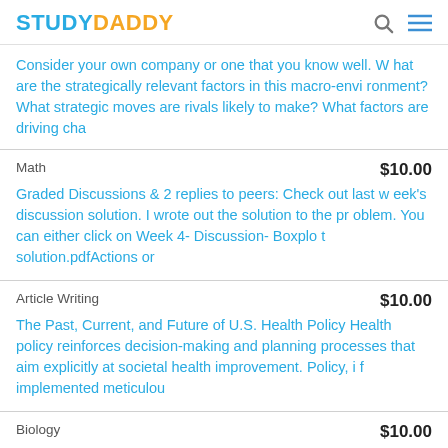STUDYDADDY
Consider your own company or one that you know well. What are the strategically relevant factors in this macro-environment? What strategic moves are rivals likely to make? What factors are driving cha
Math  $10.00
Graded Discussions & 2 replies to peers: Check out last week's discussion solution. I wrote out the solution to the problem. You can either click on Week 4- Discussion- Boxplot solution.pdfActions or
Article Writing  $10.00
The Past, Current, and Future of U.S. Health Policy Health policy reinforces decision-making and planning processes that aim explicitly at societal health improvement. Policy, if implemented meticulou
Biology  $10.00